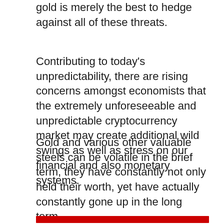gold is merely the best to hedge against all of these threats.
Contributing to today's unpredictability, there are rising concerns amongst economists that the extremely unforeseeable and unpredictable cryptocurrency market may create additional wild swings as well as stress on our financial and also monetary systems.
Gold and various other valuable steels can be volatile in the brief term, they have constantly not only held their worth, yet have actually constantly gone up in the long term.
[Figure (other): Red horizontal bar at the bottom of the page]